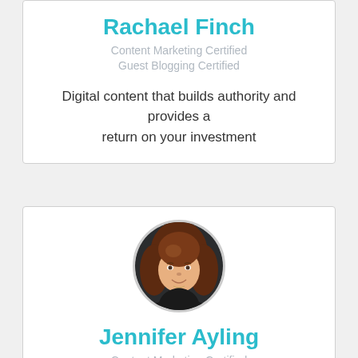Rachael Finch
Content Marketing Certified
Guest Blogging Certified
Digital content that builds authority and provides a return on your investment
[Figure (photo): Circular profile photo of Jennifer Ayling, a woman with long auburn hair, smiling, wearing a dark top against a dark background.]
Jennifer Ayling
Content Marketing Certified
SEO content that shows you as a thought leader and gets the search engines to take notice